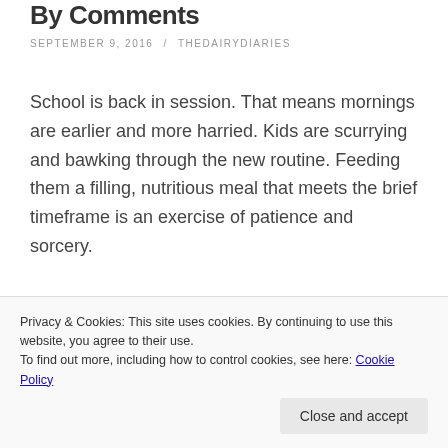By Comments
SEPTEMBER 9, 2016 / THEDAIRYDIARIES
School is back in session. That means mornings are earlier and more harried. Kids are scurrying and bawking through the new routine. Feeding them a filling, nutritious meal that meets the brief timeframe is an exercise of patience and sorcery.
Free up a little time and make use of your school commute (or bus stop wait) by serving your littles breakfast on the go. There are some of our go-to
Privacy & Cookies: This site uses cookies. By continuing to use this website, you agree to their use.
To find out more, including how to control cookies, see here: Cookie Policy